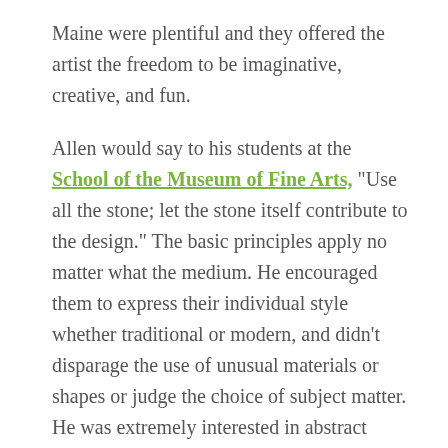Maine were plentiful and they offered the artist the freedom to be imaginative, creative, and fun.
Allen would say to his students at the School of the Museum of Fine Arts, "Use all the stone; let the stone itself contribute to the design." The basic principles apply no matter what the medium. He encouraged them to express their individual style whether traditional or modern, and didn't disparage the use of unusual materials or shapes or judge the choice of subject matter. He was extremely interested in abstract sculpture although he did little with it, again teaching that the same basic tests for all good sculpture should be applied to that genre as to any other.